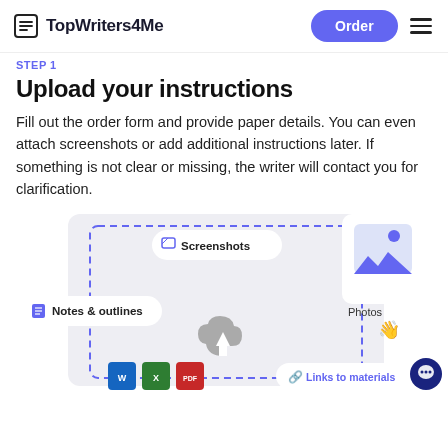TopWriters4Me | Order
STEP 1
Upload your instructions
Fill out the order form and provide paper details. You can even attach screenshots or add additional instructions later. If something is not clear or missing, the writer will contact you for clarification.
[Figure (illustration): Upload instructions illustration showing a dashed border upload area with floating chips for Screenshots, Notes & outlines, a Photos card with an image icon, file type icons (Word, Excel, PDF), a cloud upload icon, a Links to materials chip, and a circular chat button.]